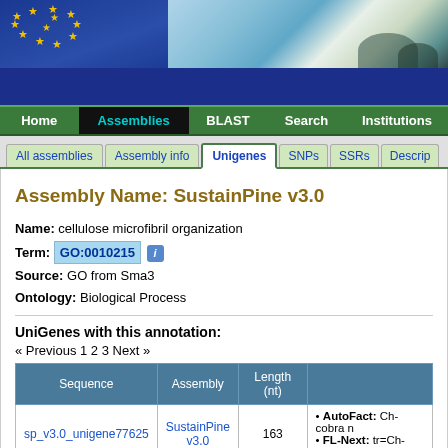[Figure (screenshot): Website header with EU flag stars on blue background on left, and teal/blue landscape photo on right, with dark blue banner at bottom]
Home | Assemblies | BLAST | Search | Institutions
All assemblies | Assembly info | Unigenes | SNPs | SSRs | Descrip
Assembly Name: SustainPine v3.0
Name: cellulose microfibril organization
Term: GO:0010215 [i]
Source: GO from Sma3
Ontology: Biological Process
UniGenes with this annotation:
« Previous 1 2 3 Next »
| Sequence | Assembly | Length (nt) |  |
| --- | --- | --- | --- |
| sp_v3.0_unigene77625 | SustainPine v3.0 | 163 | • AutoFact: Ch-cobra n
• FL-Next: tr=Ch-cobra |